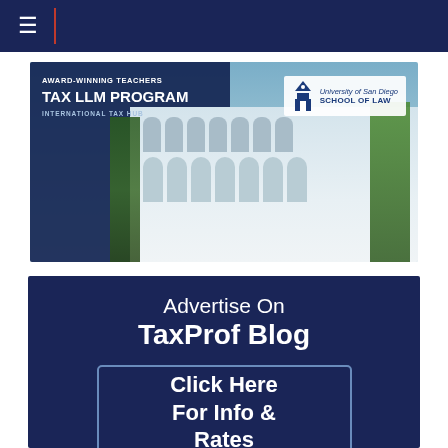Navigation bar with hamburger menu
[Figure (photo): University of San Diego School of Law building banner advertising Tax LLM Program - Award-Winning Teachers, International Tax Hub, with USD School of Law logo]
Advertise On TaxProf Blog
Click Here For Info & Rates